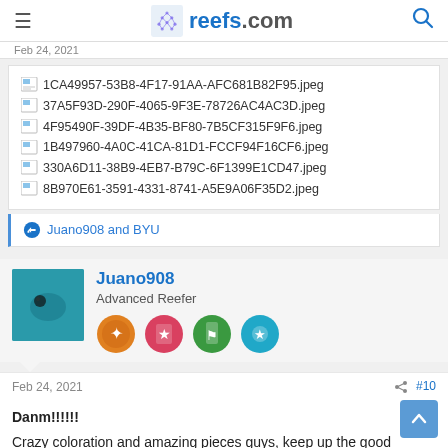reefs.com
Feb 24, 2021
1CA49957-53B8-4F17-91AA-AFC681B82F95.jpeg
37A5F93D-290F-4065-9F3E-78726AC4AC3D.jpeg
4F95490F-39DF-4B35-BF80-7B5CF315F9F6.jpeg
1B497960-4A0C-41CA-81D1-FCCF94F16CF6.jpeg
330A6D11-38B9-4EB7-B79C-6F1399E1CD47.jpeg
8B970E61-3591-4331-8741-A5E9A06F35D2.jpeg
Juano908 and BYU
Juano908
Advanced Reefer
Feb 24, 2021  #10
Danm!!!!!!
Crazy coloration and amazing pieces guys, keep up the good